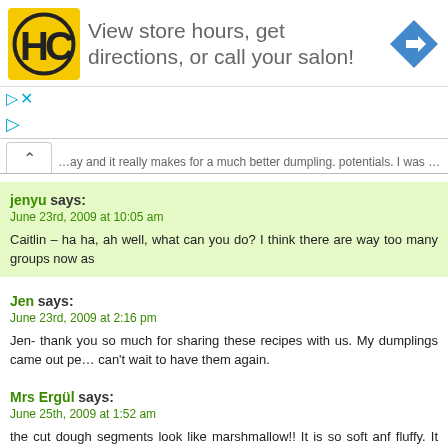[Figure (infographic): Ad banner: HC logo (black H and C letters in yellow circle), text 'View store hours, get directions, or call your salon!', blue diamond-shaped navigation arrow icon]
…ay and it really makes for a much better dumpling. potentials. I was surprised by…
jenyu says:
June 23rd, 2009 at 10:05 am
Caitlin – ha ha, ah well, what can you do? I think there are way too many groups now as
Jen says:
June 23rd, 2009 at 2:16 pm
Jen- thank you so much for sharing these recipes with us. My dumplings came out pe… can't wait to have them again.
Mrs Ergül says:
June 25th, 2009 at 1:52 am
the cut dough segments look like marshmallow!! It is so soft anf fluffy. It looks great!! … from dim sum!
Jesi says: